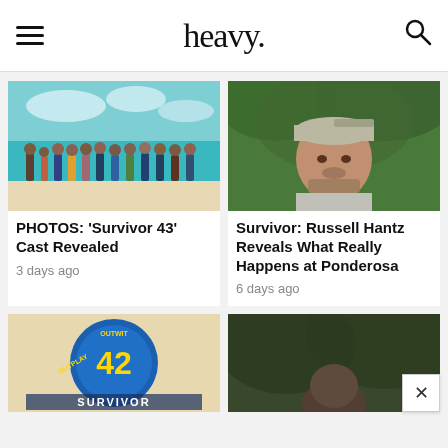heavy.
[Figure (photo): Group photo of Survivor 43 cast standing on a beach with turquoise water in the background]
PHOTOS: 'Survivor 43' Cast Revealed
3 days ago
[Figure (photo): Man wearing a grey cap and grey t-shirt standing outdoors in front of green foliage — Russell Hantz]
Survivor: Russell Hantz Reveals What Really Happens at Ponderosa
6 days ago
[Figure (photo): Survivor 42 logo with Outwit Outplay text on a circular blue emblem]
[Figure (photo): Person outdoors under tree canopy, partially visible at bottom of page]